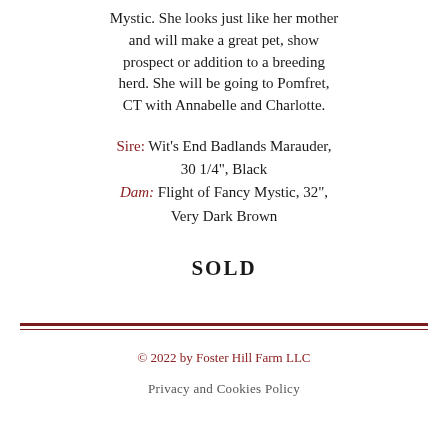Mystic.  She looks just like her mother and will make a great pet, show prospect or addition to a breeding herd.  She will be going to Pomfret, CT with Annabelle and Charlotte.
Sire: Wit's End Badlands Marauder, 30 1/4", Black  Dam: Flight of Fancy Mystic, 32", Very Dark Brown
SOLD
© 2022 by Foster Hill Farm LLC
Privacy and Cookies Policy